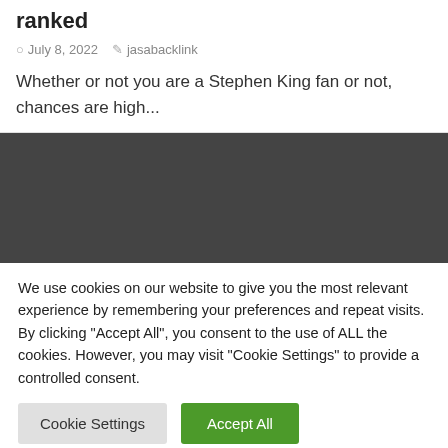ranked
July 8, 2022   jasabacklink
Whether or not you are a Stephen King fan or not, chances are high...
[Figure (other): Dark grey/charcoal rectangular banner area]
We use cookies on our website to give you the most relevant experience by remembering your preferences and repeat visits. By clicking "Accept All", you consent to the use of ALL the cookies. However, you may visit "Cookie Settings" to provide a controlled consent.
Cookie Settings   Accept All